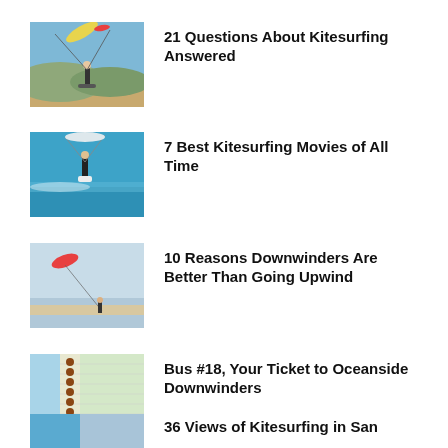[Figure (photo): Person kitesurfing on a beach, holding kite lines against a blue sky]
21 Questions About Kitesurfing Answered
[Figure (photo): Kitesurfer riding waves on blue water holding a surfboard]
7 Best Kitesurfing Movies of All Time
[Figure (photo): Kitesurfer on beach with kite visible in sky over sea]
10 Reasons Downwinders Are Better Than Going Upwind
[Figure (map): Map screenshot showing bus route and coastal area labeled OUTER SUP]
Bus #18, Your Ticket to Oceanside Downwinders
[Figure (photo): Partial photo thumbnail for kitesurfing article]
36 Views of Kitesurfing in San